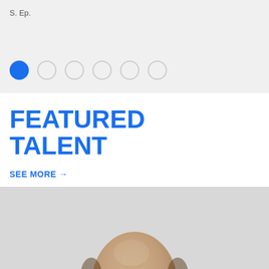S. Ep.
[Figure (infographic): A row of six circular pagination dots. The first (leftmost) dot is filled blue, the remaining five are outlined circles.]
FEATURED TALENT
SEE MORE →
[Figure (photo): Close-up photo of the top of a person's head — bald/thinning hair — against a light gray background. Only the top portion of the head is visible.]